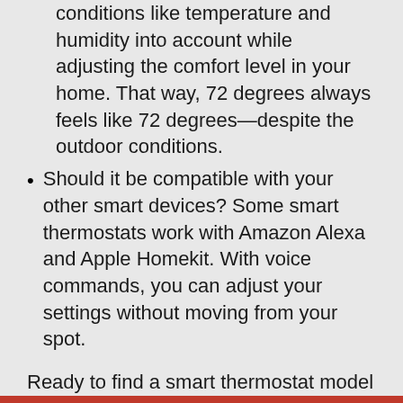conditions like temperature and humidity into account while adjusting the comfort level in your home. That way, 72 degrees always feels like 72 degrees—despite the outdoor conditions.
Should it be compatible with your other smart devices? Some smart thermostats work with Amazon Alexa and Apple Homekit. With voice commands, you can adjust your settings without moving from your spot.
Ready to find a smart thermostat model that matches your home and lifestyle? The team at Assured Appliance and Heating & Air can help you get started. You can reach us us at 847-306-8990 to an appointment with us. We can answer any questions you have and show you the options for your home comfort system.